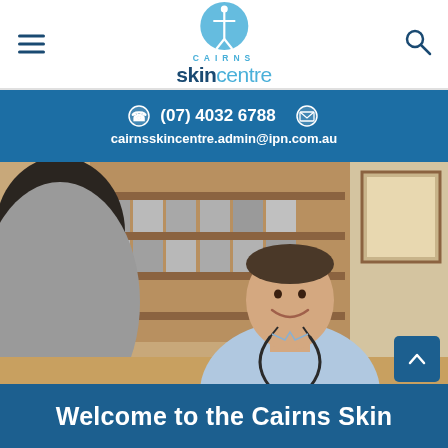Cairns Skin Centre logo, navigation menu and search icon
(07) 4032 6788
cairnsskincentre.admin@ipn.com.au
[Figure (photo): A smiling male doctor in a light blue shirt with a stethoscope around his neck, sitting across from a patient at a desk in a medical office with files and shelves in the background.]
Welcome to the Cairns Skin